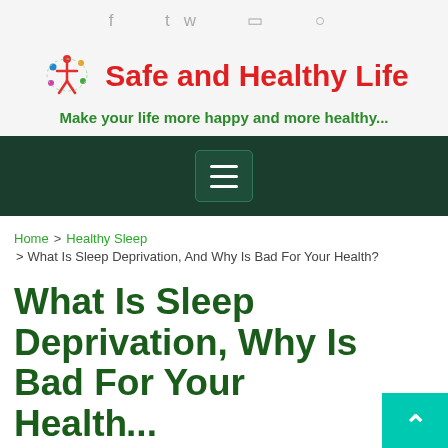f  ʏ  ☷  ⊕
[Figure (logo): Safe and Healthy Life logo with colorful figure icon and red bold text]
Make your life more happy and more healthy...
[Figure (infographic): Dark green navigation bar with hamburger menu button]
Home > Healthy Sleep > What Is Sleep Deprivation, And Why Is Bad For Your Health?
What Is Sleep Deprivation, Why Is Bad For Your Health...